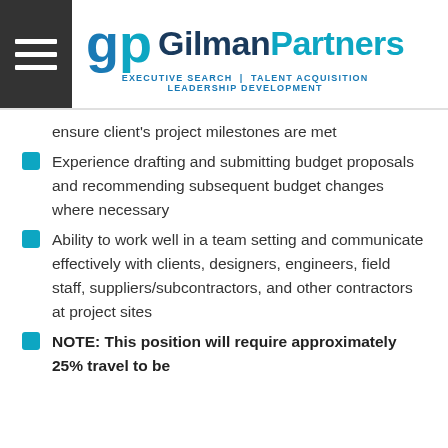GilmanPartners — EXECUTIVE SEARCH | TALENT ACQUISITION | LEADERSHIP DEVELOPMENT
ensure client's project milestones are met
Experience drafting and submitting budget proposals and recommending subsequent budget changes where necessary
Ability to work well in a team setting and communicate effectively with clients, designers, engineers, field staff, suppliers/subcontractors, and other contractors at project sites
NOTE: This position will require approximately 25% travel to be